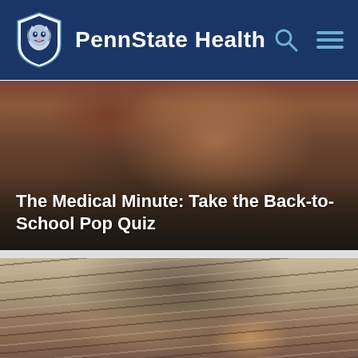PennState Health
[Figure (photo): Close-up photo of a hand holding a pencil, writing on paper. Dark and warm toned image.]
The Medical Minute: Take the Back-to-School Pop Quiz
[Figure (photo): Close-up photo of a woman with dark and gray streaked hair, looking over eyeglasses.]